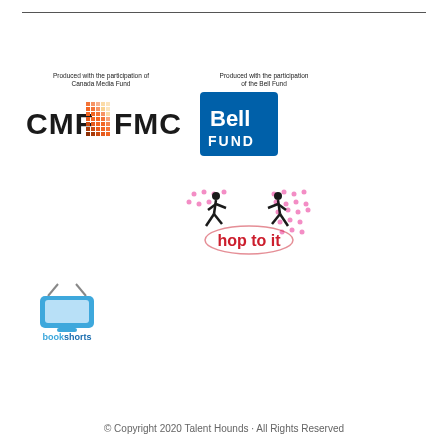[Figure (logo): CMF FMC Canada Media Fund logo with orange mosaic grid and text 'Produced with the participation of Canada Media Fund']
[Figure (logo): Bell Fund logo blue square with white text 'Bell FUND', with caption 'Produced with the participation of the Bell Fund']
[Figure (logo): hop to it logo with stylized dancers and red/pink dot pattern background]
[Figure (logo): bookshorts logo with TV icon and text 'bookshorts' in blue]
© Copyright 2020 Talent Hounds · All Rights Reserved